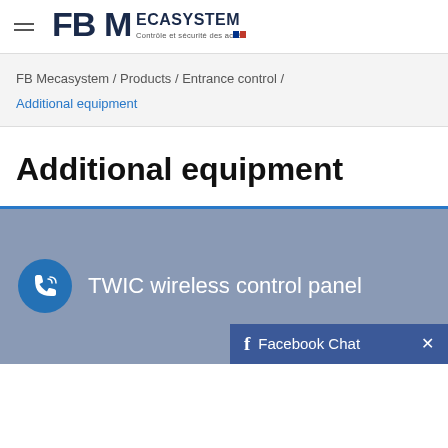[Figure (logo): FBM Ecasystem logo with text 'Contrôle et sécurité des accès' and French flag colors]
FB Mecasystem / Products / Entrance control / Additional equipment
Additional equipment
TWIC wireless control panel
Facebook Chat